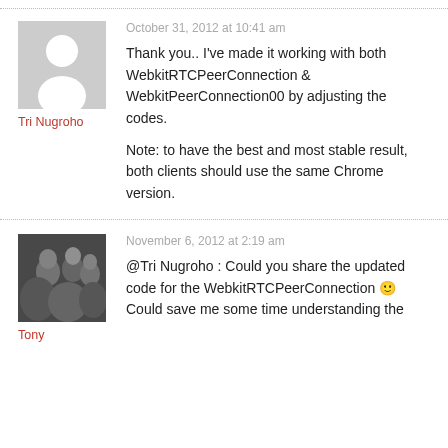[Figure (illustration): Gray placeholder avatar silhouette for user Tri Nugroho]
Tri Nugroho
October 31, 2012 at 10:41 am
Thank you.. I've made it working with both WebkitRTCPeerConnection & WebkitPeerConnection00 by adjusting the codes.

Note: to have the best and most stable result, both clients should use the same Chrome version.
[Figure (photo): Black and white group photo for user Tony]
Tony
November 6, 2012 at 2:19 am
@Tri Nugroho : Could you share the updated code for the WebkitRTCPeerConnection 🙂 Could save me some time understanding the